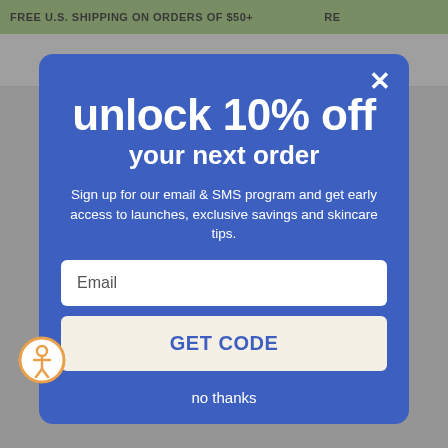FREE U.S. SHIPPING ON ORDERS OF $50+   RE...
unlock 10% off your next order
Sign up for our email & SMS program and get early access to launches, exclusive savings and skincare tips.
Email
GET CODE
no thanks